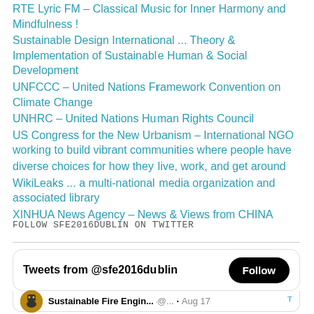RTE Lyric FM – Classical Music for Inner Harmony and Mindfulness !
Sustainable Design International ... Theory & Implementation of Sustainable Human & Social Development
UNFCCC – United Nations Framework Convention on Climate Change
UNHRC – United Nations Human Rights Council
US Congress for the New Urbanism – International NGO working to build vibrant communities where people have diverse choices for how they live, work, and get around
WikiLeaks ... a multi-national media organization and associated library
XINHUA News Agency – News & Views from CHINA
FOLLOW SFE2016DUBLIN ON TWITTER
[Figure (screenshot): Twitter widget showing 'Tweets from @sfe2016dublin' with Follow button and a tweet preview from Sustainable Fire Engin... @... Aug 17]